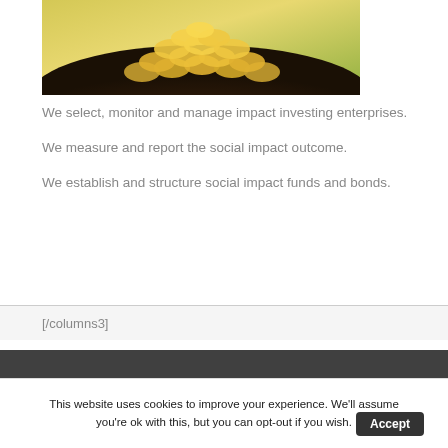[Figure (photo): Pile of gold coins on dark soil with green/yellow blurred background]
We select, monitor and manage impact investing enterprises.
We measure and report the social impact outcome.
We establish and structure social impact funds and bonds.
[/columns3]
© 2015 finandsust.eu | All rights reserved.
This website uses cookies to improve your experience. We'll assume you're ok with this, but you can opt-out if you wish. Accept